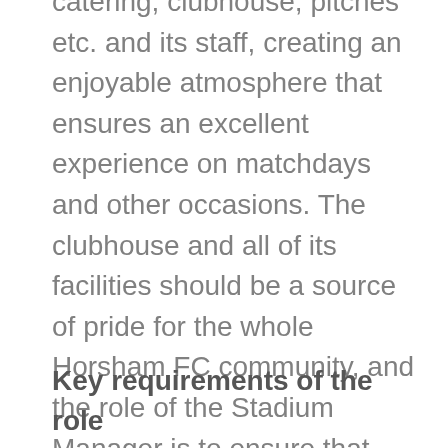catering, clubhouse, pitches etc. and its staff, creating an enjoyable atmosphere that ensures an excellent experience on matchdays and other occasions. The clubhouse and all of its facilities should be a source of pride for the whole Horsham FC community, and the role of the Stadium Manager is to ensure that these reflect well on the Club's reputation, while bringing energy, creativity and innovative thinking to the running and development of the business.
Key requirements of the role